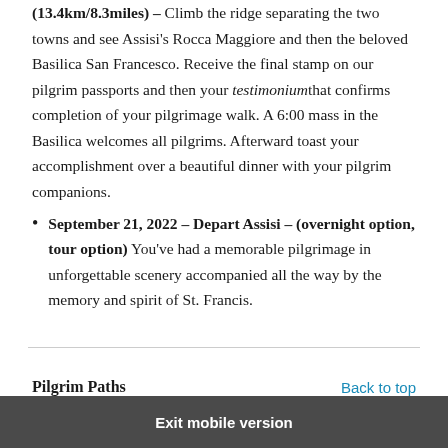(13.4km/8.3miles) – Climb the ridge separating the two towns and see Assisi's Rocca Maggiore and then the beloved Basilica San Francesco. Receive the final stamp on our pilgrim passports and then your testimoniumthat confirms completion of your pilgrimage walk. A 6:00 mass in the Basilica welcomes all pilgrims. Afterward toast your accomplishment over a beautiful dinner with your pilgrim companions.
September 21, 2022 – Depart Assisi – (overnight option, tour option) You've had a memorable pilgrimage in unforgettable scenery accompanied all the way by the memory and spirit of St. Francis.
Pilgrim Paths
Back to top
Exit mobile version